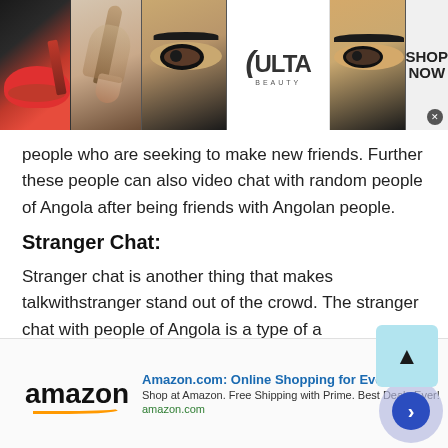[Figure (screenshot): Ulta Beauty advertisement banner with makeup images (lips, brush, eye), Ulta logo, and SHOP NOW text]
people who are seeking to make new friends. Further these people can also video chat with random people of Angola after being friends with Angolan people.
Stranger Chat:
Stranger chat is another thing that makes talkwithstranger stand out of the crowd. The stranger chat with people of Angola is a type of a
[Figure (screenshot): Amazon.com advertisement: Online Shopping for Everyone. Shop at Amazon. Free Shipping with Prime. Best Deals Ever! amazon.com]
[Figure (other): Navigation arrow circle button and scroll-to-top button]